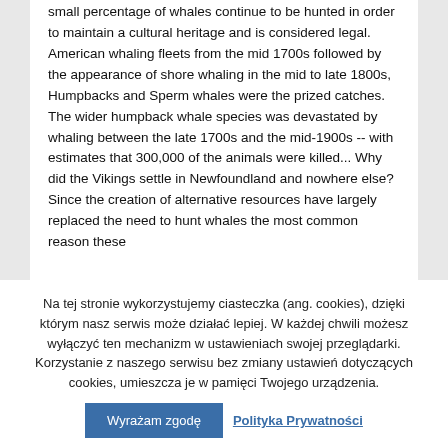small percentage of whales continue to be hunted in order to maintain a cultural heritage and is considered legal. American whaling fleets from the mid 1700s followed by the appearance of shore whaling in the mid to late 1800s, Humpbacks and Sperm whales were the prized catches. The wider humpback whale species was devastated by whaling between the late 1700s and the mid-1900s -- with estimates that 300,000 of the animals were killed... Why did the Vikings settle in Newfoundland and nowhere else? Since the creation of alternative resources have largely replaced the need to hunt whales the most common reason these
Na tej stronie wykorzystujemy ciasteczka (ang. cookies), dzięki którym nasz serwis może działać lepiej. W każdej chwili możesz wyłączyć ten mechanizm w ustawieniach swojej przeglądarki. Korzystanie z naszego serwisu bez zmiany ustawień dotyczących cookies, umieszcza je w pamięci Twojego urządzenia.
Wyrażam zgodę
Polityka Prywatności